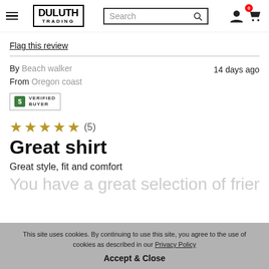Duluth Trading Co. — hamburger menu, search, cart
Flag this review
By Beach walker   14 days ago
From Oregon coast
[Figure (other): Verified Buyer badge with green dollar icon]
[Figure (other): Five gold star rating with count (5)]
Great shirt
Great style, fit and comfort
You have a great selection of friend...
This site uses cookies. By continuing to use this site, you agree to the use of cookies as described in our Privacy Policy
Accept & Close